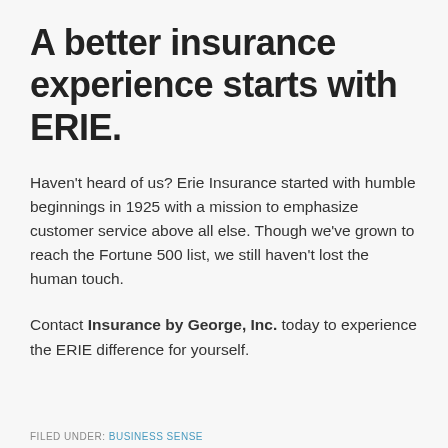A better insurance experience starts with ERIE.
Haven’t heard of us? Erie Insurance started with humble beginnings in 1925 with a mission to emphasize customer service above all else. Though we’ve grown to reach the Fortune 500 list, we still haven’t lost the human touch.
Contact Insurance by George, Inc. today to experience the ERIE difference for yourself.
FILED UNDER: BUSINESS SENSE